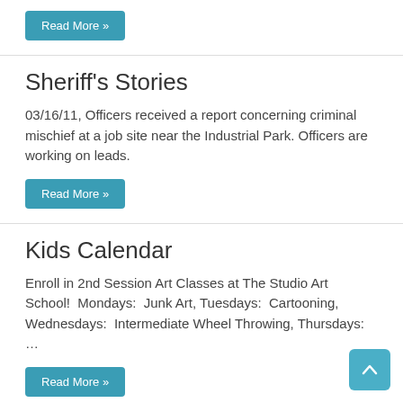Read More »
Sheriff's Stories
03/16/11, Officers received a report concerning criminal mischief at a job site near the Industrial Park. Officers are working on leads.
Read More »
Kids Calendar
Enroll in 2nd Session Art Classes at The Studio Art School!  Mondays:  Junk Art, Tuesdays:  Cartooning, Wednesdays:  Intermediate Wheel Throwing, Thursdays:  …
Read More »
School News